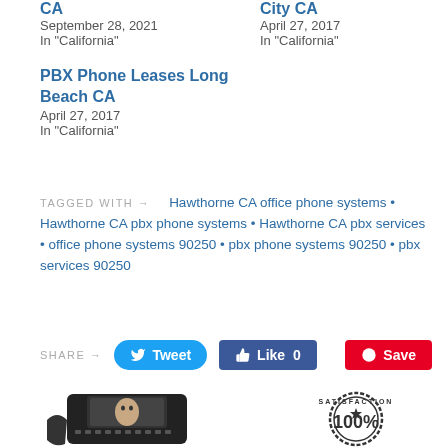CA
September 28, 2021
In "California"
City CA
April 27, 2017
In "California"
PBX Phone Leases Long Beach CA
April 27, 2017
In "California"
TAGGED WITH → Hawthorne CA office phone systems • Hawthorne CA pbx phone systems • Hawthorne CA pbx services • office phone systems 90250 • pbx phone systems 90250 • pbx services 90250
SHARE →
[Figure (screenshot): Share buttons: Tweet (blue rounded), Like 0 (Facebook blue), Save (Pinterest red)]
[Figure (photo): PBX office phone and 100% satisfaction stamp images at bottom of page]